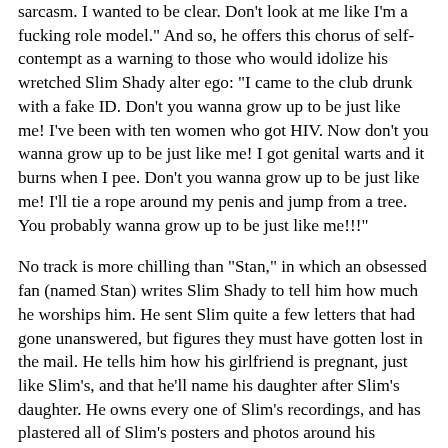sarcasm. I wanted to be clear. Don't look at me like I'm a fucking role model." And so, he offers this chorus of self-contempt as a warning to those who would idolize his wretched Slim Shady alter ego: "I came to the club drunk with a fake ID. Don't you wanna grow up to be just like me! I've been with ten women who got HIV. Now don't you wanna grow up to be just like me! I got genital warts and it burns when I pee. Don't you wanna grow up to be just like me! I'll tie a rope around my penis and jump from a tree. You probably wanna grow up to be just like me!!!"
No track is more chilling than "Stan," in which an obsessed fan (named Stan) writes Slim Shady to tell him how much he worships him. He sent Slim quite a few letters that had gone unanswered, but figures they must have gotten lost in the mail. He tells him how his girlfriend is pregnant, just like Slim's, and that he'll name his daughter after Slim's daughter. He owns every one of Slim's recordings, and has plastered all of Slim's posters and photos around his apartment.
When he doesn't hear from Slim, he sends yet another letter, this time a bit more irate, because Slim didn't have the decency to say hello to him or to give his younger brother Matthew an autograph at the last concert they attended. He identifies with the intimate details of Slim's life. "Everything you say is real," he tells Slim, which is why he now sports a tatoo of Slim's name across his chest. He says he talks about Slim "24/7," so much that his